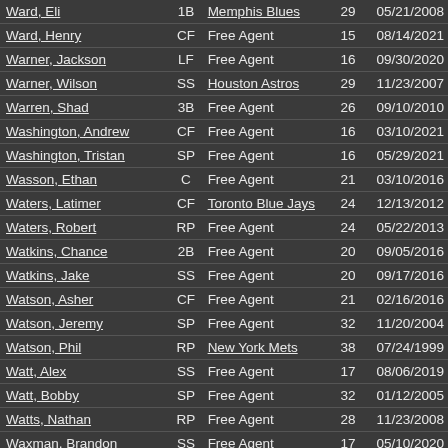| Name | Pos | Team | Age | Date |
| --- | --- | --- | --- | --- |
| Ward, Eli | 1B | Memphis Blues | 29 | 05/21/2008 |
| Ward, Henry | CF | Free Agent | 15 | 08/14/2021 |
| Warner, Jackson | LF | Free Agent | 16 | 09/30/2020 |
| Warner, Wilson | SS | Houston Astros | 29 | 11/23/2007 |
| Warren, Shad | 3B | Free Agent | 26 | 09/10/2010 |
| Washington, Andrew | CF | Free Agent | 16 | 03/10/2021 |
| Washington, Tristan | SP | Free Agent | 16 | 05/29/2021 |
| Wasson, Ethan | C | Free Agent | 21 | 03/10/2016 |
| Waters, Latimer | CF | Toronto Blue Jays | 24 | 12/13/2012 |
| Waters, Robert | RP | Free Agent | 24 | 05/22/2013 |
| Watkins, Chance | 2B | Free Agent | 20 | 09/05/2016 |
| Watkins, Jake | SS | Free Agent | 20 | 09/17/2016 |
| Watson, Asher | CF | Free Agent | 21 | 02/16/2016 |
| Watson, Jeremy | SP | Free Agent | 32 | 11/20/2004 |
| Watson, Phil | RP | New York Mets | 38 | 07/24/1999 |
| Watt, Alex | SS | Free Agent | 17 | 08/06/2019 |
| Watt, Bobby | SP | Free Agent | 32 | 01/12/2005 |
| Watts, Nathan | RP | Free Agent | 28 | 11/23/2008 |
| Waxman, Brandon | SS | Free Agent | 17 | 05/10/2020 |
| Wayne, Emerson | SP | Free Agent | 18 | 07/05/2019 |
| Wayne, Matt | LF | Free Agent | 35 | 10/12/2001 |